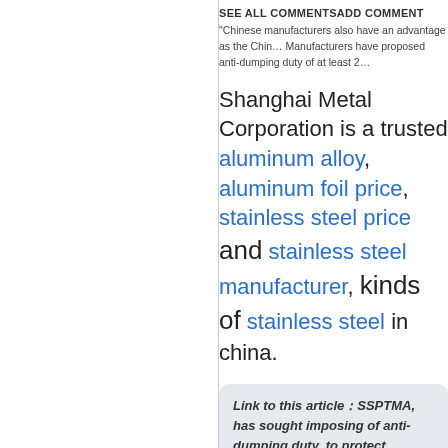SEE ALL COMMENTSADD COMMENT
“Chinese manufacturers also have an advantage as the Chin… Manufacturers have proposed anti-dumping duty of at least 2…
Shanghai Metal Corporation is a trusted aluminum alloy, aluminum foil price, stainless steel price and stainless steel manufacturer, kinds of stainless steel in china.
Link to this article：SSPTMA, has sought imposing of anti-dumping duty, to protect domestic manufacturers.
Reprint Statement: If there are no special
[Figure (illustration): Sketch illustration showing technical drawing tools including pencils and mechanical drafting implements on a light peach/tan background]